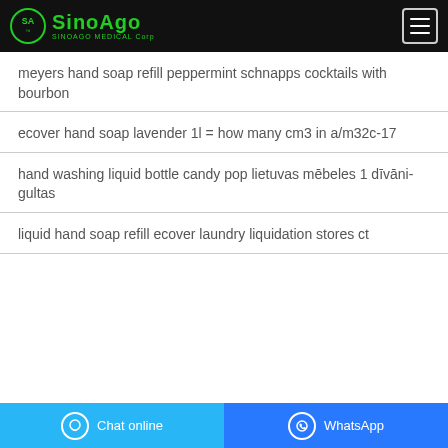SINOAGO MEDICAL Corp
meyers hand soap refill peppermint schnapps cocktails with bourbon
ecover hand soap lavender 1l = how many cm3 in a/m32c-17
hand washing liquid bottle candy pop lietuvas mēbeles 1 dīvāni-gultas
liquid hand soap refill ecover laundry liquidation stores ct
Chat online | WhatsApp